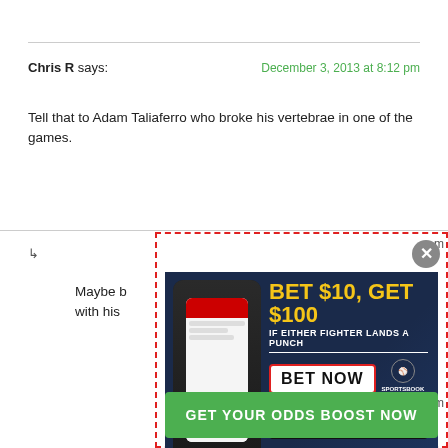Chris R says:
December 3, 2013 at 8:12 pm
Tell that to Adam Taliaferro who broke his vertebrae in one of the games.
Maybe ...
[Figure (other): Advertisement banner: BET $10, GET $100 IF EITHER FIGHTER LANDS A PUNCH. BET NOW. PROMO CODE: BROADFIGHT100. Sportsbook & Casino. GET YOUR ODDS BOOST NOW button.]